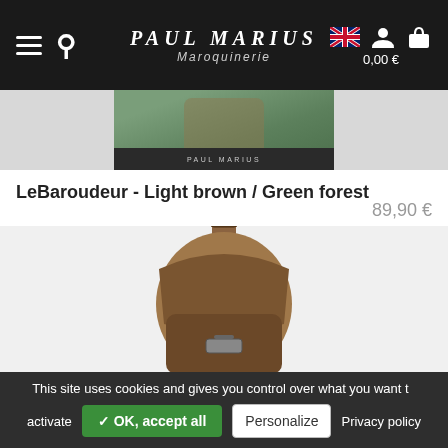Paul Marius Maroquinerie — Navigation header with hamburger menu, search, language flag, user icon, cart icon, 0,00 €
[Figure (photo): Cropped product image of a green bag on a grey platform with PAUL MARIUS label at bottom]
LeBaroudeur - Light brown / Green forest
89,90 €
[Figure (photo): Brown leather backpack (LeBaroudeur) displayed on a dark grey platform with PAUL MARIUS label]
This site uses cookies and gives you control over what you want to activate  ✓ OK, accept all  Personalize  Privacy policy